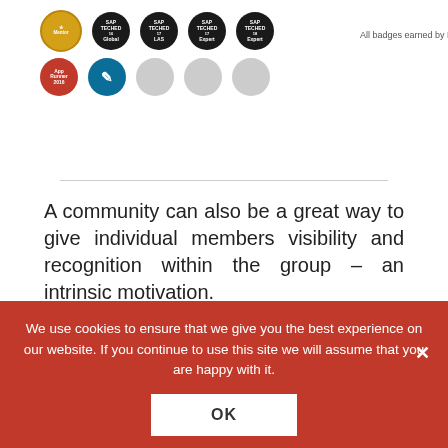[Figure (other): Row of circular badges/icons: gold badge, four dark SAP TechEd badges, plus caption 'All badges earned by Daniel'. Second row: red App Runner 2016 badge, teal pencil/document icon badge, and three gray placeholder circles.]
All badges earned by Daniel
A community can also be a great way to give individual members visibility and recognition within the group – an intrinsic motivation.
Additionally, a community enables various other features that can be motivating – such as working collaboratively to achieve certain community goals. Or
We use cookies to ensure that we give you the best experience on our website. If you continue to use this site we will assume that you are happy with it.